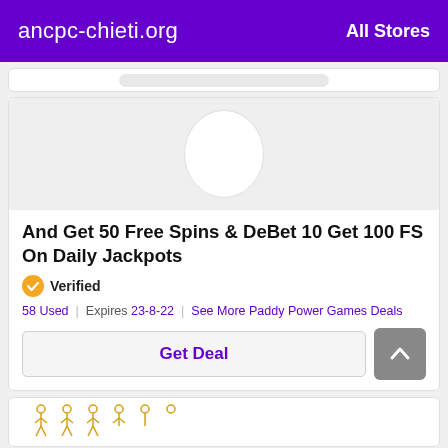ancpc-chieti.org   All Stores
[Figure (screenshot): Partial card with a search bar visible at the top]
[Figure (logo): White oval/circle logo placeholder on grey background]
And Get 50 Free Spins & DeBet 10 Get 100 FS On Daily Jackpots
Verified
58 Used | Expires 23-8-22 | See More Paddy Power Games Deals
Get Deal
[Figure (illustration): Partial bottom card with orange stick figure icons visible]